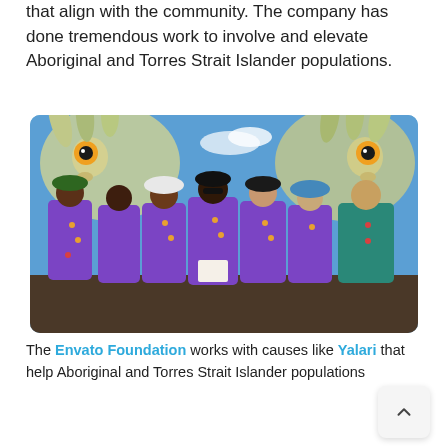that align with the community. The company has done tremendous work to involve and elevate Aboriginal and Torres Strait Islander populations.
[Figure (photo): Group photo of seven young people wearing purple shirts with Aboriginal dot art design, standing in front of a colourful mural featuring large bird faces (emu-like) on a blue background. One person on the right wears a teal shirt.]
The Envato Foundation works with causes like Yalari that help Aboriginal and Torres Strait Islander populations